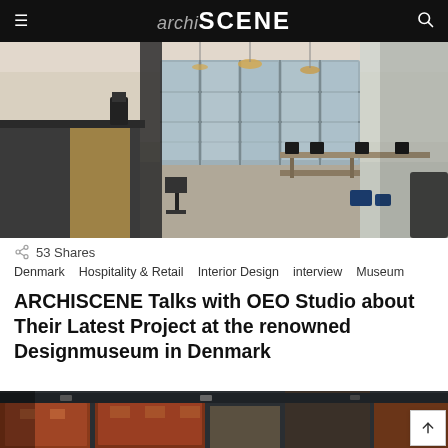archiSCENE
[Figure (photo): Interior of Designmuseum Denmark cafe/restaurant area showing dark kitchen counter, light wood shelving, tall windows with grid panes, pendant lights, and rows of tables with chairs on stone floor]
53 Shares
Denmark   Hospitality & Retail   Interior Design   interview   Museum
ARCHISCENE Talks with OEO Studio about Their Latest Project at the renowned Designmuseum in Denmark
[Figure (photo): Aerial bird's-eye view of Copenhagen city blocks showing rooftops of historic buildings with orange/red tiles, streets and parked cars visible below]